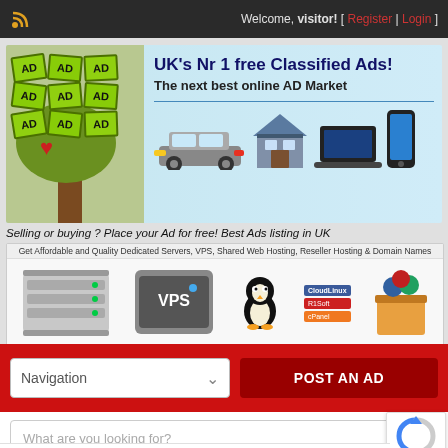Welcome, visitor! [ Register | Login ]
[Figure (infographic): UK's Nr 1 free Classified Ads banner with AD sticker tree graphic, car, house, laptop and phone images. Text: UK's Nr 1 free Classified Ads! The next best online AD Market]
Selling or buying ? Place your Ad for free! Best Ads listing in UK
[Figure (infographic): Web hosting advertisement banner: Get Affordable and Quality Dedicated Servers, VPS, Shared Web Hosting, Reseller Hosting & Domain Names. Shows server hardware, VPS server, Linux penguin, CloudLinux, R1Soft, cPanel logos.]
Navigation
POST AN AD
What are you looking for?
14. Other Services Providers